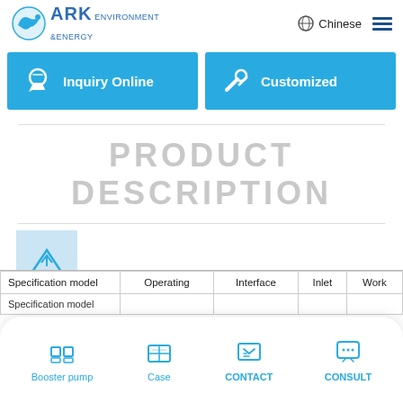ARK Environment & Energy | Chinese
[Figure (screenshot): Two blue call-to-action buttons: 'Inquiry Online' with headset icon and 'Customized' with wrench/tool icon]
PRODUCT DESCRIPTION
[Figure (photo): Small product image placeholder (light blue square with ARK logo upward arrow icon)]
Standard performance parameters
| Specification model | Operating | Interface | Inlet | Work |
| --- | --- | --- | --- | --- |
| Specification model |  |  |  |  |
Booster pump | Case | CONTACT | CONSULT